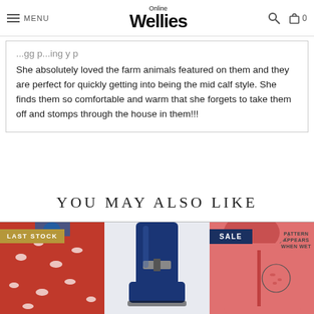MENU | Wellies Online | [search] [cart 0]
She absolutely loved the farm animals featured on them and they are perfect for quickly getting into being the mid calf style. She finds them so comfortable and warm that she forgets to take them off and stomps through the house in them!!!
YOU MAY ALSO LIKE
[Figure (photo): Red dinosaur print raincoat with LAST STOCK badge]
[Figure (photo): Navy blue tall wellies/rain boots]
[Figure (photo): Pink hooded jacket with SALE badge and pattern appears when wet annotation]